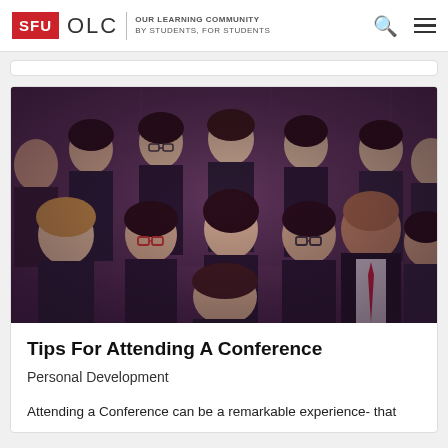SFU OLC | OUR LEARNING COMMUNITY BY STUDENTS, FOR STUDENTS
[Figure (photo): Group photo of approximately 12-13 students in business attire at a conference, with a purple/mauve color tone applied.]
Tips For Attending A Conference
Personal Development
Attending a Conference can be a remarkable experience- that